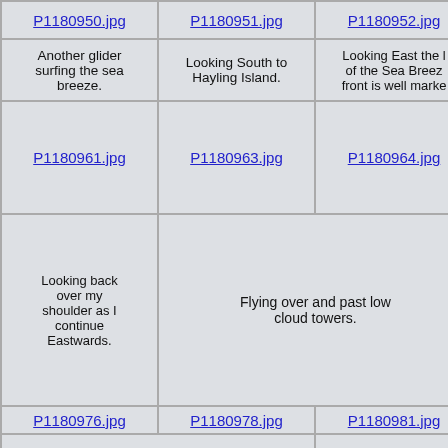| P1180950.jpg | P1180951.jpg | P1180952.jpg |
| Another glider surfing the sea breeze. | Looking South to Hayling Island. | Looking East the ... of the Sea Breeze front is well marke... |
| P1180961.jpg | P1180963.jpg | P1180964.jpg | [cloud photo] P1180971.jpg |
| Looking back over my shoulder as I continue Eastwards. | Flying over and past low cloud towers. | To the North are more standard inland cumulus clouds with a bit spreadout. |
| P1180976.jpg | P1180978.jpg | P1180981.jpg | P1180985.jpg | P11... |
| The Parham Duo Discus landed out just West of the airfield just below the ridge. | Views of Parham Airfield from the Southeast and Northeast as I turn the PAR turnpoint. | Loo... a ridg... PAR... s... bo... |